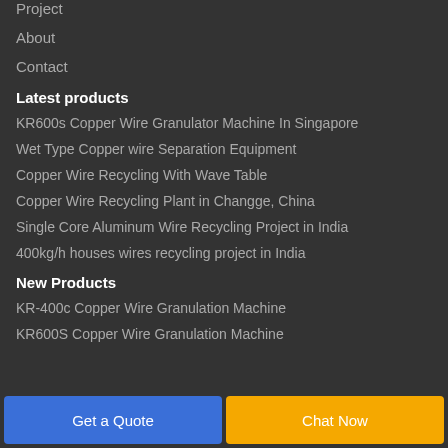Project
About
Contact
Latest products
KR600s Copper Wire Granulator Machine In Singapore
Wet Type Copper wire Separation Equipment
Copper Wire Recycling With Wave Table
Copper Wire Recycling Plant in Changge, China
Single Core Aluminum Wire Recycling Project in India
400kg/h houses wires recycling project in India
New Products
KR-400c Copper Wire Granulation Machine
KR600S Copper Wire Granulation Machine
Get a Quote
Chat Now